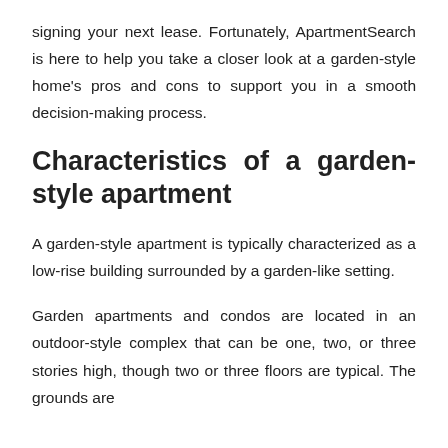signing your next lease. Fortunately, ApartmentSearch is here to help you take a closer look at a garden-style home's pros and cons to support you in a smooth decision-making process.
Characteristics of a garden-style apartment
A garden-style apartment is typically characterized as a low-rise building surrounded by a garden-like setting.
Garden apartments and condos are located in an outdoor-style complex that can be one, two, or three stories high, though two or three floors are typical. The grounds are